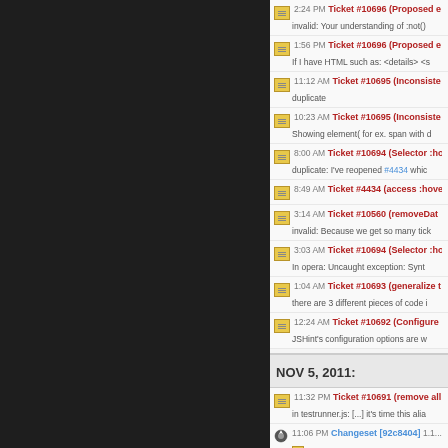2:24 PM Ticket #10696 (Proposed e... invalid: Your understanding of :not()...
1:56 PM Ticket #10696 (Proposed e... If I have HTML such as: <details> <s...
11:12 AM Ticket #10695 (Inconsiste... duplicate
10:23 AM Ticket #10695 (Inconsiste... Showing element( for ex. span with d...
8:00 AM Ticket #10694 (Selector :ho... duplicate: I've reopened #4434 whic...
8:49 AM Ticket #4434 (access :hove...
3:14 AM Ticket #10560 (removeDat... invalid: Because we get so many tick...
3:03 AM Ticket #10694 (Selector :ho... In opera: Uncaught exception: Synt...
1:04 AM Ticket #10693 (generalize t... there are 3 different pieces of code i...
12:24 AM Ticket #10692 (Configure... JSHint's configuration options are w...
NOV 5, 2011:
11:32 PM Ticket #10691 (remove all... in testrunner.js: [...] it's time this alia...
11:06 PM Changeset [92c8404] 1.1... src/manipulation.js